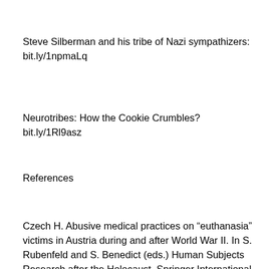Steve Silberman and his tribe of Nazi sympathizers: bit.ly/1npmaLq
Neurotribes: How the Cookie Crumbles? bit.ly/1Rl9asz
References
Czech H. Abusive medical practices on “euthanasia” victims in Austria during and after World War II. In S. Rubenfeld and S. Benedict (eds.) Human Subjects Research after the Holocaust. Springer International